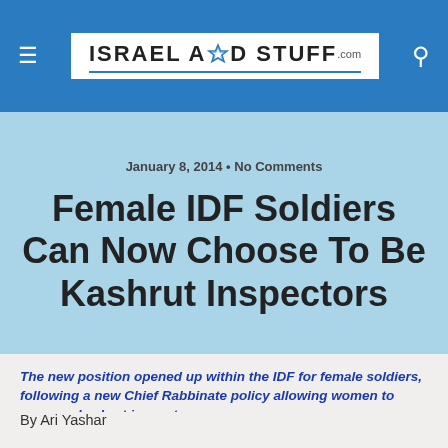Israel A★D Stuff.com
January 8, 2014 • No Comments
Female IDF Soldiers Can Now Choose To Be Kashrut Inspectors
The new position opened up within the IDF for female soldiers, following a new Chief Rabbinate policy allowing women to serve as kashrut inspectors.
By Ari Yashar